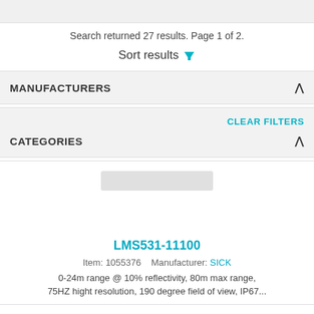Search returned 27 results. Page 1 of 2.
Sort results
MANUFACTURERS
CLEAR FILTERS
CATEGORIES
[Figure (photo): Product image placeholder for LMS531-11100]
LMS531-11100
Item: 1055376    Manufacturer: SICK
0-24m range @ 10% reflectivity, 80m max range, 75HZ hight resolution, 190 degree field of view, IP67...